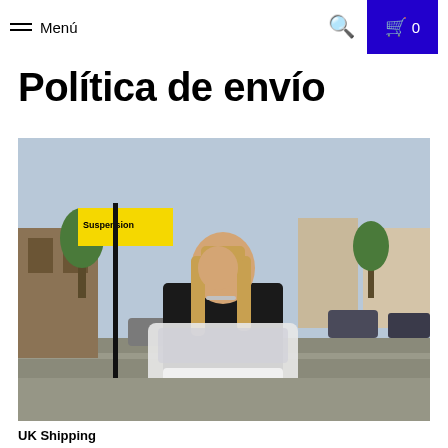Menú | 🔍 | 🛒 0
Política de envío
[Figure (photo): A woman with long blonde hair standing on a London street holding packaged clothing in plastic bags, next to a yellow 'Suspension' street sign. Residential street with parked cars in the background.]
UK Shipping